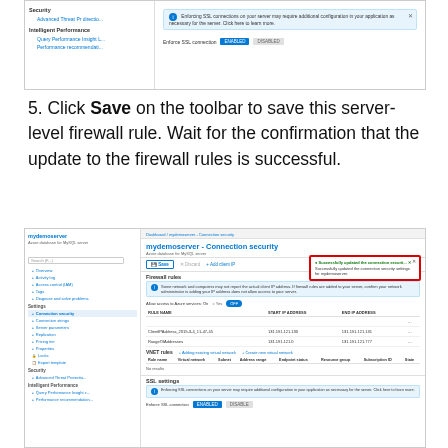[Figure (screenshot): Azure portal screenshot showing SSL settings panel with Enforce SSL connection toggle]
5. Click Save on the toolbar to save this server-level firewall rule. Wait for the confirmation that the update to the firewall rules is successful.
[Figure (screenshot): Azure portal screenshot of mydemoserver - Connection security page showing firewall rules table with two entries (ClientIPAddress and RangeOfAddresses), VNet rules section showing no results, SSL settings section, and a success notification box highlighted with red border indicating successful update of connection security settings.]